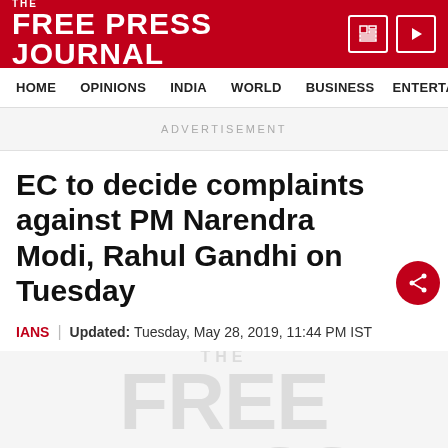THE FREE PRESS JOURNAL
HOME | OPINIONS | INDIA | WORLD | BUSINESS | ENTERTAIN
ADVERTISEMENT
EC to decide complaints against PM Narendra Modi, Rahul Gandhi on Tuesday
IANS | Updated: Tuesday, May 28, 2019, 11:44 PM IST
[Figure (logo): The Free Press Journal watermark logo in light gray]